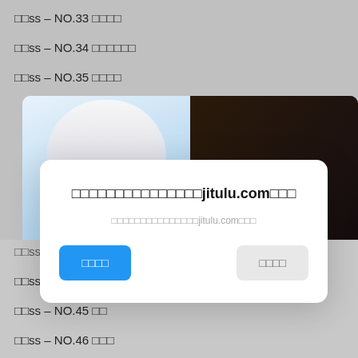□□ss – NO.33 □□□□
□□ss – NO.34 □□□□□□
□□ss – NO.35 □□□□
[Figure (photo): Cosplay photo of a person with white hair in dark costume]
□□□□□□□□□□□□□□□jitulu.com□□□
□□□□□□□□□□□□□□□jitulu.com□□□
□□□□ (confirm button)
□□□□ (cancel button)
□□ss – NO.43 □□□□
□□ss – NO.44 □□□□
□□ss – NO.45 □□
□□ss – NO.46 □□□